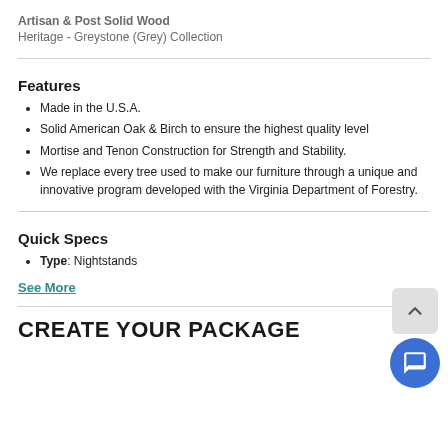Artisan & Post Solid Wood
Heritage - Greystone (Grey) Collection
Features
Made in the U.S.A.
Solid American Oak & Birch to ensure the highest quality level
Mortise and Tenon Construction for Strength and Stability.
We replace every tree used to make our furniture through a unique and innovative program developed with the Virginia Department of Forestry.
Quick Specs
Type: Nightstands
See More
CREATE YOUR PACKAGE